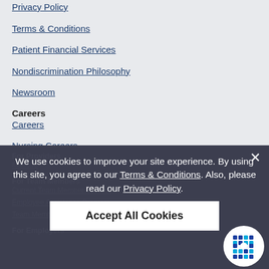Privacy Policy
Terms & Conditions
Patient Financial Services
Nondiscrimination Philosophy
Newsroom
Careers
Careers
Nursing Careers
Physician Careers
For Providers
Maestro
For Team Members
Current Team Member Careers
Employee Assistance Program
Team Member Login
For Employers
We use cookies to improve your site experience. By using this site, you agree to our Terms & Conditions. Also, please read our Privacy Policy.
Accept All Cookies